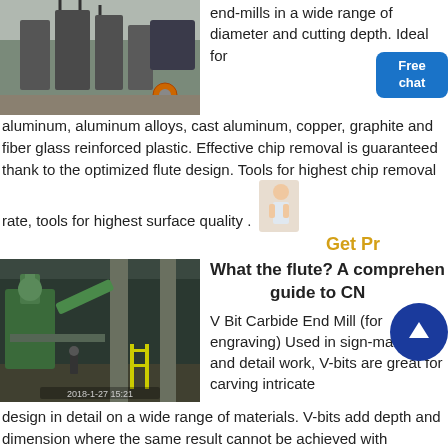[Figure (photo): Industrial equipment photo showing large tanks and machinery in a construction/factory setting]
end-mills in a wide range of diameter and cutting depth. Ideal for aluminum, aluminum alloys, cast aluminum, copper, graphite and fiber glass reinforced plastic. Effective chip removal is guaranteed thank to the optimized flute design. Tools for highest chip removal rate, tools for highest surface quality .
[Figure (photo): Industrial factory interior with green machinery, conveyor systems, and concrete pillars. Timestamp 2018-1-27 15:21]
What the flute? A comprehensive guide to CNC
V Bit Carbide End Mill (for engraving) Used in sign-making and detail work, V-bits are great for carving intricate design in detail on a wide range of materials. V-bits add depth and dimension where the same result cannot be achieved with